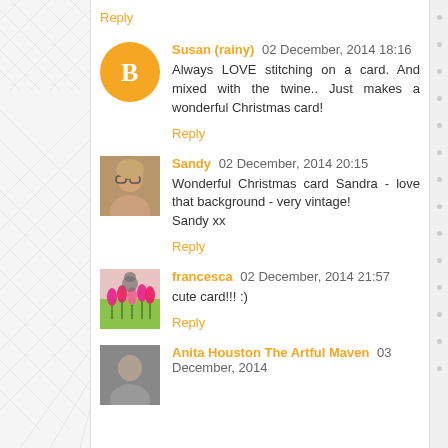Reply
Susan (rainy)  02 December, 2014 18:16
Always LOVE stitching on a card. And mixed with the twine.. Just makes a wonderful Christmas card!
Reply
Sandy  02 December, 2014 20:15
Wonderful Christmas card Sandra - love that background - very vintage!
Sandy xx
Reply
francesca  02 December, 2014 21:57
cute card!!! :)
Reply
Anita Houston The Artful Maven  03 December, 2014